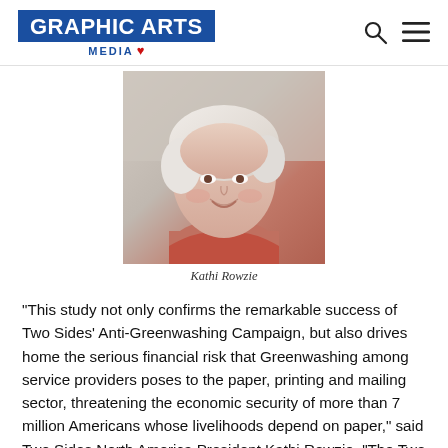Graphic Arts Media
[Figure (photo): Portrait photo of Kathi Rowzie, a woman with short blonde/white hair, smiling, wearing a red jacket]
Kathi Rowzie
“This study not only confirms the remarkable success of Two Sides’ Anti-Greenwashing Campaign, but also drives home the serious financial risk that Greenwashing among service providers poses to the paper, printing and mailing sector, threatening the economic security of more than 7 million Americans whose livelihoods depend on paper,” said Two Sides North America President Kathi Rowzie. “The Two Sides Anti-Greenwashing Campaign...